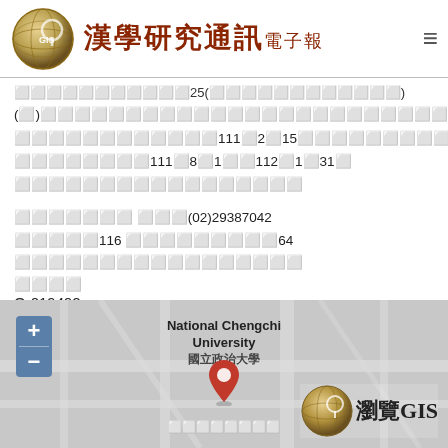漢學研究通訊電子報
⬜⬜⬜⬜⬜⬜⬜⬜⬜⬜⬜25(⬜⬜⬜⬜⬜⬜⬜⬜⬜⬜⬜⬜)
(⬜)⬜⬜⬜⬜⬜⬜⬜⬜⬜⬜⬜⬜⬜⬜⬜⬜⬜⬜⬜⬜⬜⬜⬜⬜⬜⬜⬜⬜⬜⬜⬜⬜⬜⬜⬜⬜⬜⬜⬜⬜⬜⬜⬜⬜⬜⬜⬜⬜
⬜⬜⬜⬜⬜⬜⬜⬜⬜⬜⬜⬜111⬜2⬜15⬜⬜⬜⬜⬜⬜⬜⬜⬜⬜⬜⬜⬜⬜
⬜⬜⬜⬜⬜⬜⬜⬜111⬜8⬜1⬜⬜112⬜1⬜31⬜
⬜⬜⬜⬜⬜⬜⬜⬜⬜⬜⬜⬜⬜⬜⬜⬜⬜
⬜⬜⬜⬜⬜⬜⬜ ⬜⬜⬜(02)29387042
⬜⬜⬜⬜⬜116 ⬜⬜⬜⬜⬜⬜⬜⬜⬜64 ⬜⬜⬜⬜⬜⬜⬜⬜⬜⬜⬜⬜⬜⬜⬜⬜⬜
⬜⬜⬜⬜
O-019492
[Figure (map): Google-style map showing National Chengchi University (國立政治大學) location with a red pin marker, zoom controls on the left, and a 瀏覽GIS globe button on the lower right.]